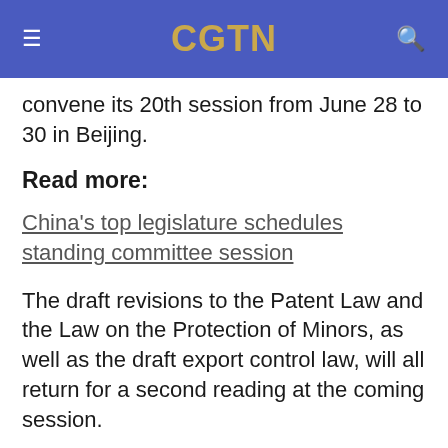CGTN
convene its 20th session from June 28 to 30 in Beijing.
Read more:
China's top legislature schedules standing committee session
The draft revisions to the Patent Law and the Law on the Protection of Minors, as well as the draft export control law, will all return for a second reading at the coming session.
The draft revision of the Law on the Protection of Minors further clarifies the responsibility of the guardians of juveniles and strengthens the management of issues